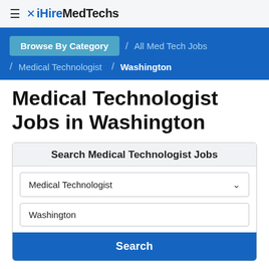iHireMedTechs
Browse By Category / All Med Tech Jobs / Medical Technologist / Washington
Medical Technologist Jobs in Washington
Search Medical Technologist Jobs
Medical Technologist
Washington
Search